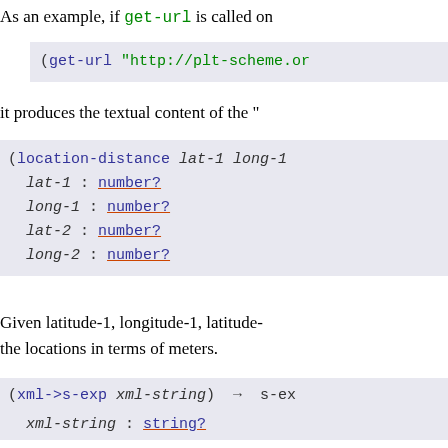As an example, if get-url is called on
it produces the textual content of the "
Given latitude-1, longitude-1, latitude- the locations in terms of meters.
Parses a string containing XML to s-ex
define-struct will define structure c e.g.